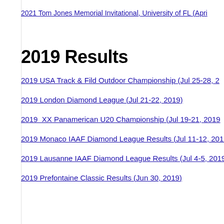2021 Tom Jones Memorial Invitational, University of FL (Apri...
2019 Results
2019 USA Track & Fild Outdoor Championship (Jul 25-28, 2...
2019 London Diamond League (Jul 21-22, 2019)
2019 XX Panamerican U20 Championship (Jul 19-21, 2019...
2019 Monaco IAAF Diamond League Results (Jul 11-12, 2019...
2019 Lausanne IAAF Diamond League Results (Jul 4-5, 2019...
2019 Prefontaine Classic Results (Jun 30, 2019)